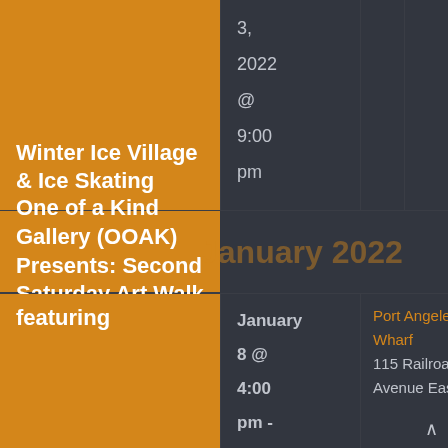3, 2022 @ 9:00 pm
Winter Ice Village & Ice Skating
One of a Kind Gallery (OOAK) Presents: Second Saturday Art Walk featuring
January 2022
January 8 @ 4:00 pm - 8:00 pm
Port Angeles Wharf 115 Railroad Avenue East,
Google Map